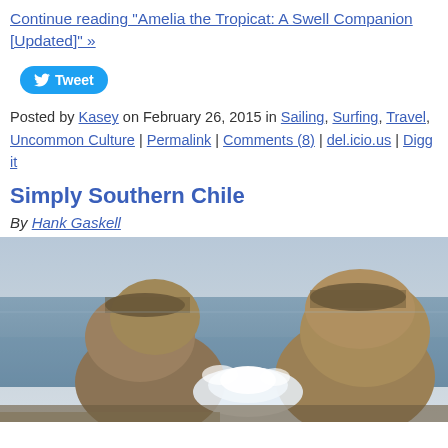Continue reading "Amelia the Tropicat: A Swell Companion [Updated]" »
Tweet
Posted by Kasey on February 26, 2015 in Sailing, Surfing, Travel, Uncommon Culture | Permalink | Comments (8) | del.icio.us | Digg it
Simply Southern Chile
By Hank Gaskell
[Figure (photo): Two large rocky sea stacks rising from the ocean with waves crashing between them and seabirds perched on top, under a hazy sky.]